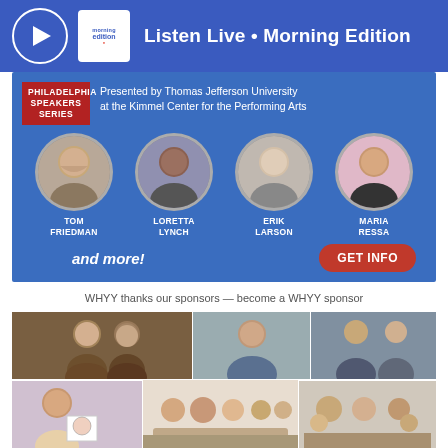Listen Live • Morning Edition
[Figure (photo): Philadelphia Speakers Series advertisement presented by Thomas Jefferson University at the Kimmel Center for the Performing Arts, featuring speakers Tom Friedman, Loretta Lynch, Erik Larson, Maria Ressa, with 'and more!' text and GET INFO button]
WHYY thanks our sponsors — become a WHYY sponsor
[Figure (photo): Photo collage of multiple people in two rows — top row shows three photos of individuals/pairs, bottom row shows three more photos including a young girl with art, a family on a couch, and another family group.]